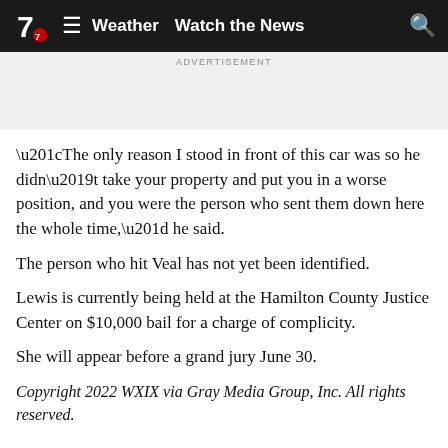Weather   Watch the News
ADVERTISEMENT
“The only reason I stood in front of this car was so he didn’t take your property and put you in a worse position, and you were the person who sent them down here the whole time,” he said.
The person who hit Veal has not yet been identified.
Lewis is currently being held at the Hamilton County Justice Center on $10,000 bail for a charge of complicity.
She will appear before a grand jury June 30.
Copyright 2022 WXIX via Gray Media Group, Inc. All rights reserved.